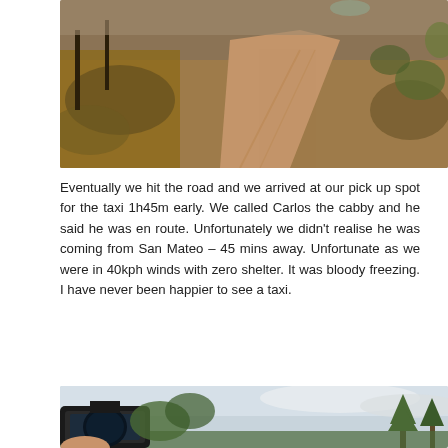[Figure (photo): A dirt hiking trail winding through brown fern-covered hillside with pine trees and forest vegetation]
Eventually we hit the road and we arrived at our pick up spot for the taxi 1h45m early. We called Carlos the cabby and he said he was en route. Unfortunately we didn't realise he was coming from San Mateo – 45 mins away. Unfortunate as we were in 40kph winds with zero shelter. It was bloody freezing. I have never been happier to see a taxi.
[Figure (photo): A person holding up a GPS watch against a sky with trees (pine trees) visible in the background with cloudy sky]